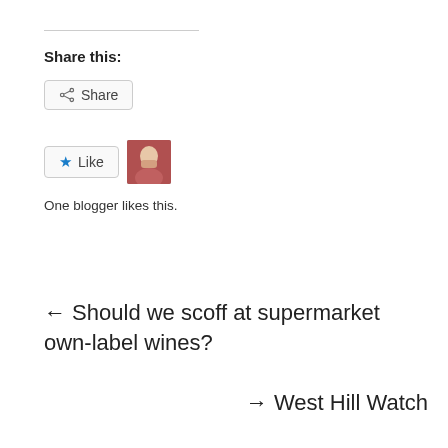Share this:
[Figure (screenshot): Share button with share icon]
[Figure (screenshot): Like button with star icon and blogger avatar thumbnail]
One blogger likes this.
← Should we scoff at supermarket own-label wines?
→ West Hill Watch